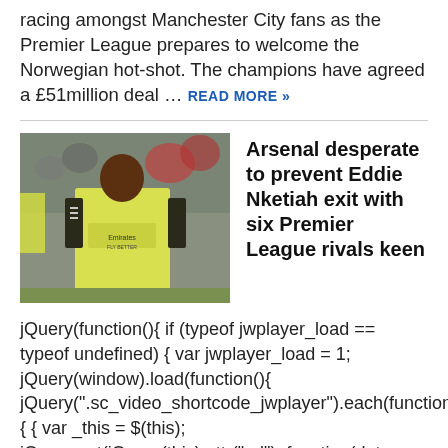racing amongst Manchester City fans as the Premier League prepares to welcome the Norwegian hot-shot. The champions have agreed a £51million deal ... READ MORE »
[Figure (photo): Football player wearing yellow Arsenal away kit with Emirates sponsor, standing on pitch with crowd in background]
Arsenal desperate to prevent Eddie Nketiah exit with six Premier League rivals keen
jQuery(function(){ if (typeof jwplayer_load == typeof undefined) { var jwplayer_load = 1; jQuery(window).load(function(){ jQuery(".sc_video_shortcode_jwplayer").each(function(){ { var _this = $(this); jQuery.get(jQuery(this).attr("url"), function(data, status){ if (typeof data.split("\n") !== typeof undefined) { var src ... READ MORE »